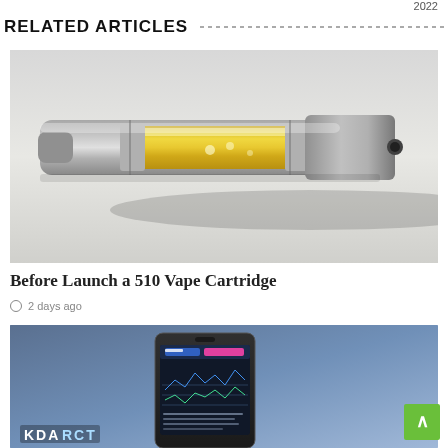2022
RELATED ARTICLES
[Figure (photo): Close-up photo of a 510 vape cartridge pen with metallic silver body and golden/amber colored oil visible through the cartridge window, lying diagonally on a light gray surface]
Before Launch a 510 Vape Cartridge
2 days ago
[Figure (screenshot): A smartphone displaying a dark-themed app interface (appears to be '4GARTT' or similar) with blue and pink UI elements, charts/graphs visible on screen, shown against a blue gradient background with partial logo text visible at bottom left]